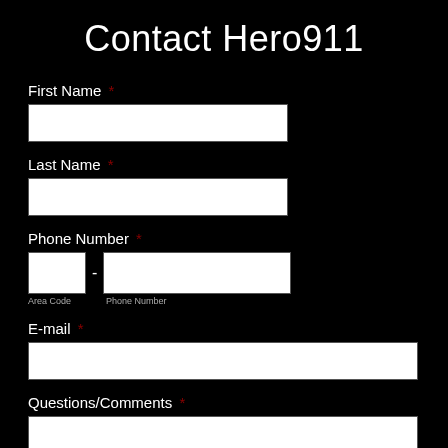Contact Hero911
First Name *
Last Name *
Phone Number *
Area Code  Phone Number
E-mail *
Questions/Comments *